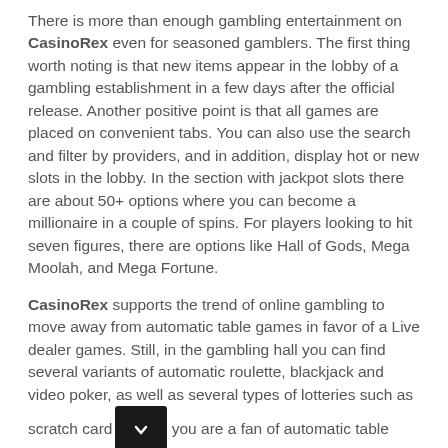There is more than enough gambling entertainment on CasinoRex even for seasoned gamblers. The first thing worth noting is that new items appear in the lobby of a gambling establishment in a few days after the official release. Another positive point is that all games are placed on convenient tabs. You can also use the search and filter by providers, and in addition, display hot or new slots in the lobby. In the section with jackpot slots there are about 50+ options where you can become a millionaire in a couple of spins. For players looking to hit seven figures, there are options like Hall of Gods, Mega Moolah, and Mega Fortune.
CasinoRex supports the trend of online gambling to move away from automatic table games in favor of a Live dealer games. Still, in the gambling hall you can find several variants of automatic roulette, blackjack and video poker, as well as several types of lotteries such as scratch cards. If you are a fan of automatic table games, then there may not be enough assortment here. But it is better to turn your head to a live casino games: it is ten times more interesting, and besides that, it can bring great profit.